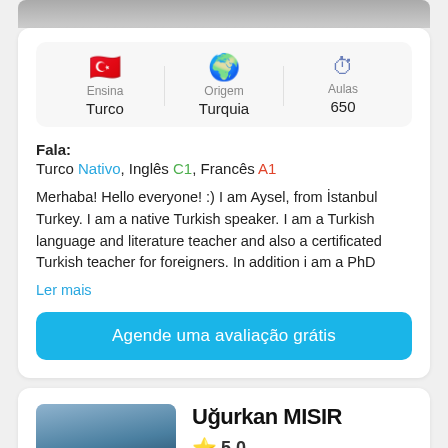[Figure (photo): Partial profile photo strip at top of page]
| Ensina | Origem | Aulas |
| --- | --- | --- |
| Turco | Turquia | 650 |
Fala:
Turco Nativo, Inglês C1, Francês A1
Merhaba! Hello everyone! :) I am Aysel, from İstanbul Turkey. I am a native Turkish speaker. I am a Turkish language and literature teacher and also a certificated Turkish teacher for foreigners. In addition i am a PhD
Ler mais
Agende uma avaliação grátis
[Figure (photo): Profile photo of Uğurkan MISIR, partial view]
Uğurkan MISIR
★ 5.0